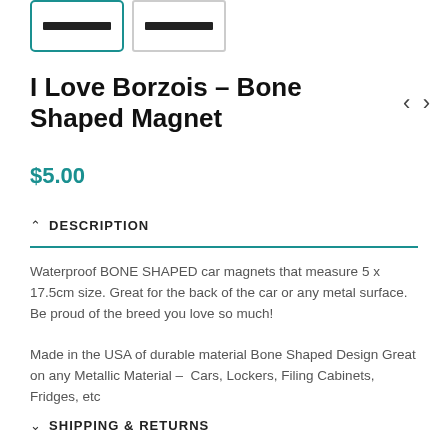[Figure (other): Two product thumbnail images side by side; left thumbnail has teal border, right has gray border, both showing black bar placeholder]
I Love Borzois – Bone Shaped Magnet
$5.00
DESCRIPTION
Waterproof BONE SHAPED car magnets that measure 5 x 17.5cm size. Great for the back of the car or any metal surface.  Be proud of the breed you love so much!
Made in the USA of durable material Bone Shaped Design Great on any Metallic Material – Cars, Lockers, Filing Cabinets, Fridges, etc
SHIPPING & RETURNS